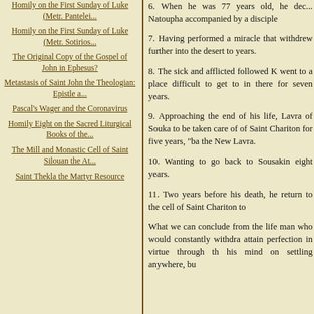Homily on the First Sunday of Luke (Metr. Pantelei...
Homily on the First Sunday of Luke (Metr. Sotirios...
The Original Copy of the Gospel of John in Ephesus?
Metastasis of Saint John the Theologian: Epistle a...
Pascal's Wager and the Coronavirus
Homily Eight on the Sacred Liturgical Books of the...
The Mill and Monastic Cell of Saint Silouan the At...
Saint Thekla the Martyr Resource
6. When he was 77 years old, he dec... Natoupha accompanied by a disciple
7. Having performed a miracle that withdrew further into the desert to years.
8. The sick and afflicted followed K went to a place difficult to get to in there for seven years.
9. Approaching the end of his life, Lavra of Souka to be taken care of of Saint Chariton for five years, "ba the New Lavra.
10. Wanting to go back to Sousakin eight years.
11. Two years before his death, he return to the cell of Saint Chariton to
What we can conclude from the life man who would constantly withdra attain perfection in virtue through th his mind on settling anywhere, bu